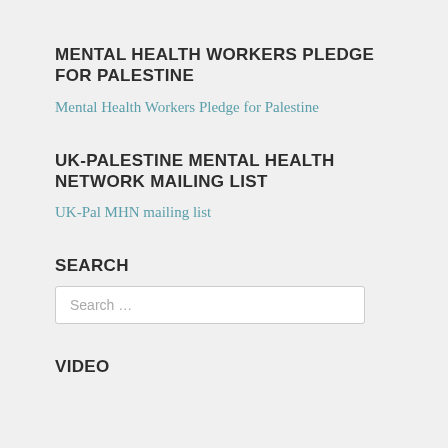MENTAL HEALTH WORKERS PLEDGE FOR PALESTINE
Mental Health Workers Pledge for Palestine
UK-PALESTINE MENTAL HEALTH NETWORK MAILING LIST
UK-Pal MHN mailing list
SEARCH
Search ...
VIDEO